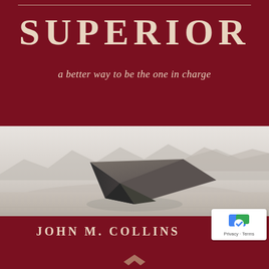SUPERIOR
a better way to be the one in charge
[Figure (illustration): A surreal black-and-white landscape photograph showing a large dark geometric stone slab or monolith balanced on its corner point in a barren desert plain, with misty mountains in the background.]
JOHN M. COLLINS